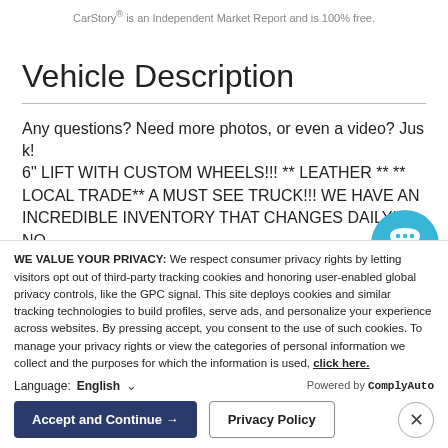CarStory® is an Independent Market Report and is 100% free.
Vehicle Description
Any questions? Need more photos, or even a video? Just ask! 6" LIFT WITH CUSTOM WHEELS!!! ** LEATHER ** ** LOCAL TRADE** A MUST SEE TRUCK!!! WE HAVE AN INCREDIBLE INVENTORY THAT CHANGES DAILY!!!. NO
WE VALUE YOUR PRIVACY: We respect consumer privacy rights by letting visitors opt out of third-party tracking cookies and honoring user-enabled global privacy controls, like the GPC signal. This site deploys cookies and similar tracking technologies to build profiles, serve ads, and personalize your experience across websites. By pressing accept, you consent to the use of such cookies. To manage your privacy rights or view the categories of personal information we collect and the purposes for which the information is used, click here.
Language:  English  ∨   Powered by ComplyAuto
Accept and Continue →   Privacy Policy   ×